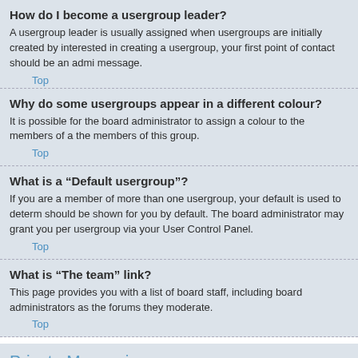How do I become a usergroup leader?
A usergroup leader is usually assigned when usergroups are initially created by interested in creating a usergroup, your first point of contact should be an admi message.
Top
Why do some usergroups appear in a different colour?
It is possible for the board administrator to assign a colour to the members of a the members of this group.
Top
What is a “Default usergroup”?
If you are a member of more than one usergroup, your default is used to determ should be shown for you by default. The board administrator may grant you per usergroup via your User Control Panel.
Top
What is “The team” link?
This page provides you with a list of board staff, including board administrators as the forums they moderate.
Top
Private Messaging
I cannot send private messages!